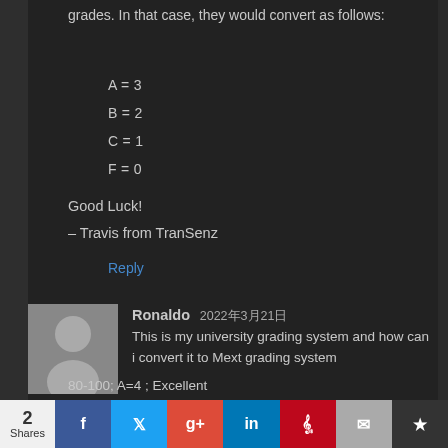grades. In that case, they would convert as follows:
A = 3
B = 2
C = 1
F = 0
Good Luck!
– Travis from TranSenz
Reply
Ronaldo 2022年3月21日
This is my university grading system and how can i convert it to Mext grading system 80-100; A=4 ; Excellent 70-79; B+=3.5 ; Very Good 60-69; B=3 ; Good